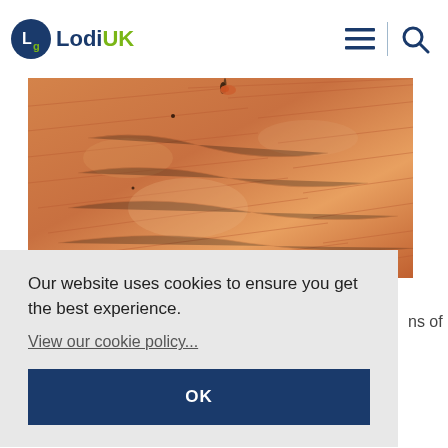LodiUK
[Figure (photo): Close-up macro photograph of skin texture, showing orange-toned skin with fine lines and wrinkles, with what appears to be a small insect or mite visible.]
Our website uses cookies to ensure you get the best experience.
View our cookie policy...
OK
ns of
contents directly into an external bin as moving